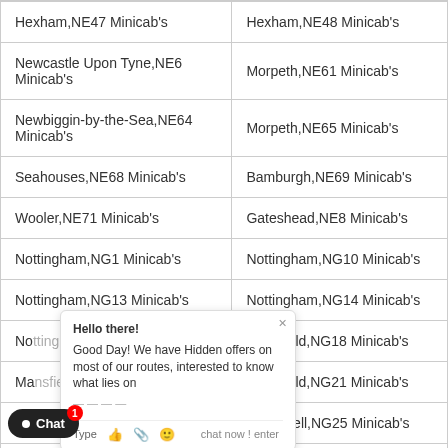| Hexham,NE47 Minicab's | Hexham,NE48 Minicab's |
| Newcastle Upon Tyne,NE6 Minicab's | Morpeth,NE61 Minicab's |
| Newbiggin-by-the-Sea,NE64 Minicab's | Morpeth,NE65 Minicab's |
| Seahouses,NE68 Minicab's | Bamburgh,NE69 Minicab's |
| Wooler,NE71 Minicab's | Gateshead,NE8 Minicab's |
| Nottingham,NG1 Minicab's | Nottingham,NG10 Minicab's |
| Nottingham,NG13 Minicab's | Nottingham,NG14 Minicab's |
| No... Minicab's | Mansfield,NG18 Minicab's |
| Ma... nicab's | Mansfield,NG21 Minicab's |
| Ne... cab's | Southwell,NG25 Minicab's |
| Gra... nicab's | Grantham,NG33 Minicab's |
| ...ham,NG5 Minicab's | Nottingham,NG6 Minicab's |